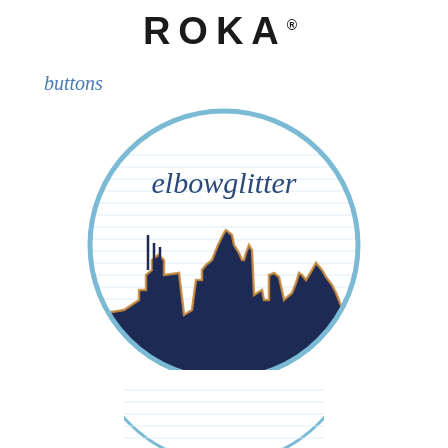ROKA
buttons
[Figure (logo): A circular button design with light blue border, horizontal stripes background, 'elbowglitter' in dark blue script text at the top, and a city skyline silhouette in dark navy blue with gold glitter accents at the base.]
[Figure (logo): Partial view of a second identical circular button design at the bottom of the page, showing only the top arc.]